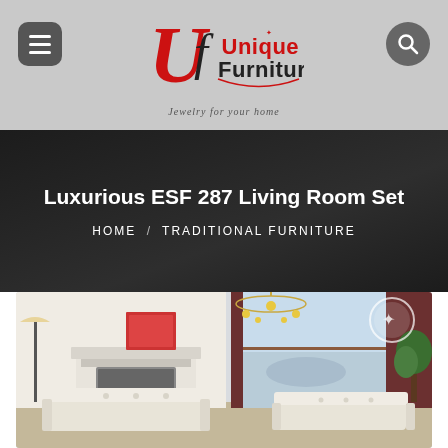Unique Furniture — Jewelry for your home
Luxurious ESF 287 Living Room Set
HOME / TRADITIONAL FURNITURE
[Figure (photo): Living room set with white tufted sofas, chandelier, fireplace, and large windows with curtains]